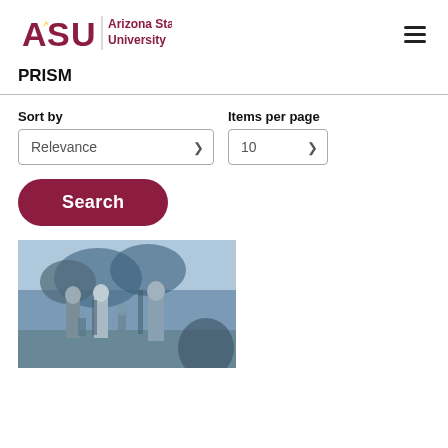[Figure (logo): Arizona State University logo with stylized ASU text in maroon and gold and 'Arizona State University' text beside it]
PRISM
Sort by
Items per page
Relevance
10
Search
[Figure (photo): Black and white (blue toned) photograph of students walking and socializing outdoors near trees on a university campus]